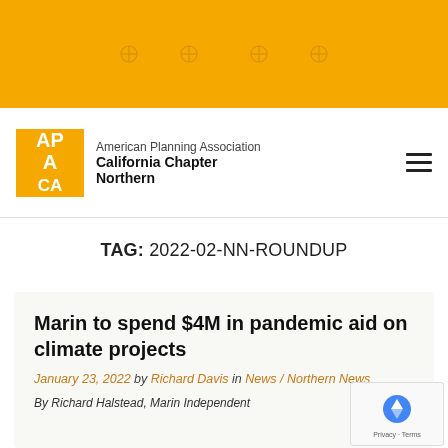[Figure (logo): Yellow banner with registration marks at top of page]
American Planning Association California Chapter Northern
TAG: 2022-02-NN-ROUNDUP
Marin to spend $4M in pandemic aid on climate projects
January 23, 2022 by Richard Davis in News / Northern News
By Richard Halstead, Marin Independent Journal, December 29, 2021